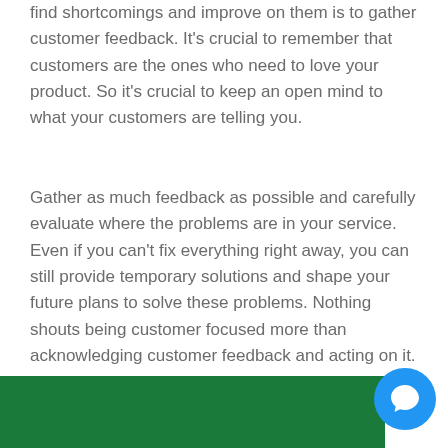find shortcomings and improve on them is to gather customer feedback. It's crucial to remember that customers are the ones who need to love your product. So it's crucial to keep an open mind to what your customers are telling you.
Gather as much feedback as possible and carefully evaluate where the problems are in your service. Even if you can't fix everything right away, you can still provide temporary solutions and shape your future plans to solve these problems. Nothing shouts being customer focused more than acknowledging customer feedback and acting on it.
[Figure (other): Green banner/bar at the bottom of the page with a blue circular chat button icon in the bottom right corner]